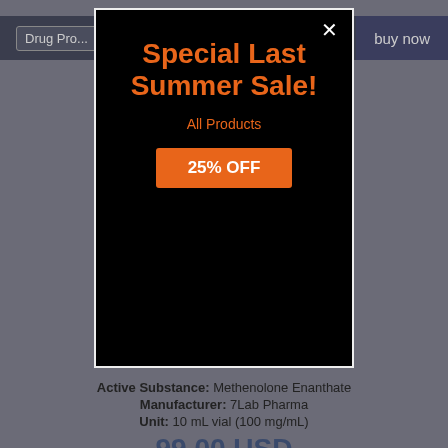Drug Pro... | buy now
[Figure (screenshot): Black modal popup with orange text reading 'Special Last Summer Sale! All Products' and an orange button '25% OFF', with a white X close button in the top right corner]
Active Substance: Methenolone Enanthate
Manufacturer: 7Lab Pharma
Unit: 10 mL vial (100 mg/mL)
99.00 USD
132.00 USD